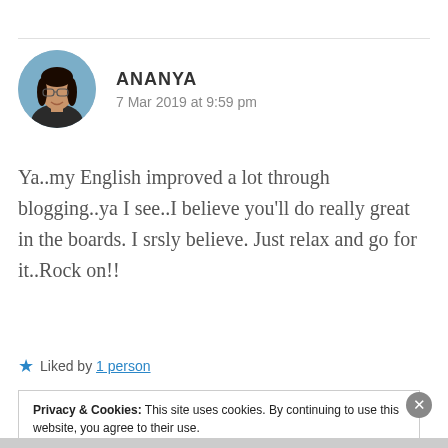[Figure (photo): Circular avatar photo of a young woman with glasses smiling outdoors]
ANANYA
7 Mar 2019 at 9:59 pm
Ya..my English improved a lot through blogging..ya I see..I believe you’ll do really great in the boards. I srsly believe. Just relax and go for it..Rock on!!
★ Liked by 1 person
Privacy & Cookies: This site uses cookies. By continuing to use this website, you agree to their use.
To find out more, including how to control cookies, see here: Cookie Policy
Close and accept